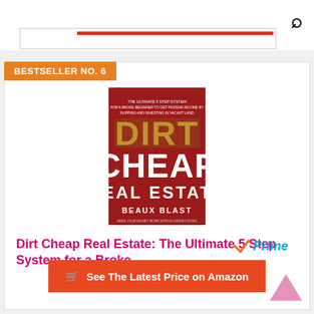Search icon (magnifying glass)
[Figure (screenshot): Red horizontal bar inside a search input box area]
BESTSELLER NO. 6
[Figure (photo): Book cover of 'Dirt Cheap Real Estate' by Beaux Blast — dark red background with large gold/white text DIRT CHEAP REAL ESTATE]
Dirt Cheap Real Estate: The Ultimate 5 Step System for a Broke...
[Figure (logo): Amazon Prime logo — checkmark with 'Prime' text in blue and orange]
See The Latest Price on Amazon